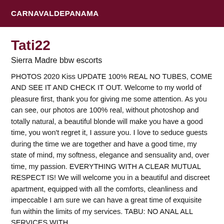CARNAVALDEPANAMA
Tati22
Sierra Madre bbw escorts
PHOTOS 2020 Kiss UPDATE 100% REAL NO TUBES, COME AND SEE IT AND CHECK IT OUT. Welcome to my world of pleasure first, thank you for giving me some attention. As you can see, our photos are 100% real, without photoshop and totally natural, a beautiful blonde will make you have a good time, you won't regret it, I assure you. I love to seduce guests during the time we are together and have a good time, my state of mind, my softness, elegance and sensuality and, over time, my passion. EVERYTHING WITH A CLEAR MUTUAL RESPECT IS! We will welcome you in a beautiful and discreet apartment, equipped with all the comforts, cleanliness and impeccable I am sure we can have a great time of exquisite fun within the limits of my services. TABU: NO ANAL ALL SERVICES WITH